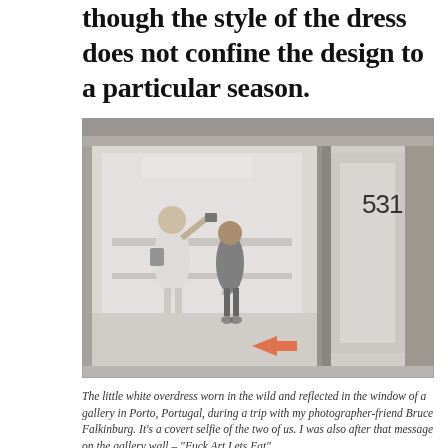though the style of the dress does not confine the design to a particular season.
[Figure (photo): A photograph taken through a large glass storefront window at number 531, a gallery in Porto, Portugal. Two figures are visible reflected or standing in front of the glass — one wearing a white overdress and carrying a bag, the other a darker-clothed figure. Inside the gallery, shelving and a tiled floor with an orange arrow are visible.]
The little white overdress worn in the wild and reflected in the window of a gallery in Porto, Portugal, during a trip with my photographer-friend Bruce Falkinburg. It's a covert selfie of the two of us. I was also after that message on the gallery wall – "Fuck Art Lets Eat"